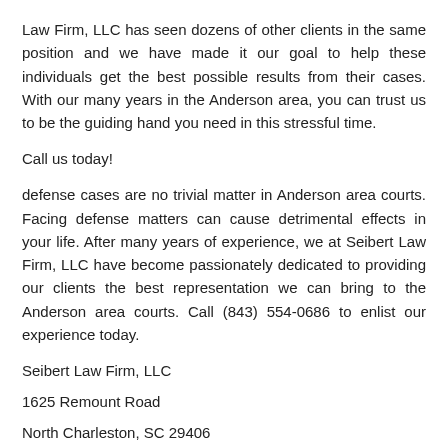Law Firm, LLC has seen dozens of other clients in the same position and we have made it our goal to help these individuals get the best possible results from their cases. With our many years in the Anderson area, you can trust us to be the guiding hand you need in this stressful time.
Call us today!
defense cases are no trivial matter in Anderson area courts. Facing defense matters can cause detrimental effects in your life. After many years of experience, we at Seibert Law Firm, LLC have become passionately dedicated to providing our clients the best representation we can bring to the Anderson area courts. Call (843) 554-0686 to enlist our experience today.
Seibert Law Firm, LLC
1625 Remount Road
North Charleston, SC 29406